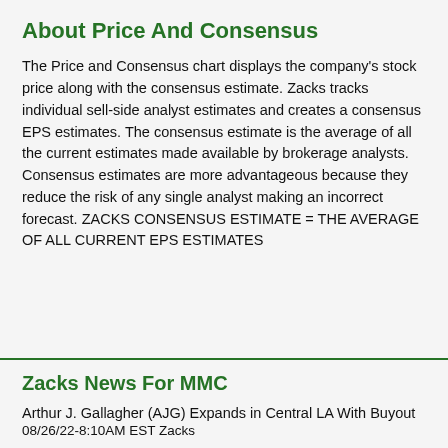About Price And Consensus
The Price and Consensus chart displays the company's stock price along with the consensus estimate. Zacks tracks individual sell-side analyst estimates and creates a consensus EPS estimates. The consensus estimate is the average of all the current estimates made available by brokerage analysts. Consensus estimates are more advantageous because they reduce the risk of any single analyst making an incorrect forecast. ZACKS CONSENSUS ESTIMATE = THE AVERAGE OF ALL CURRENT EPS ESTIMATES
Zacks News For MMC
Arthur J. Gallagher (AJG) Expands in Central LA With Buyout
08/26/22-8:10AM EST Zacks